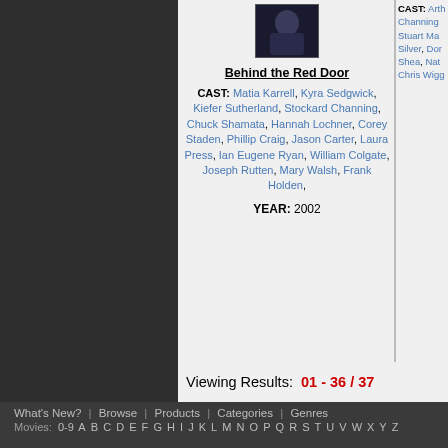[Figure (photo): Small movie poster or still image for 'Behind the Red Door', dark colored photo]
Behind the Red Door
CAST: Matia Karrell, Kyra Sedgwick, Kiefer Sutherland, Stockard Channing, Chuck Shamata, Hannah Lochner, Corey Staden, Phillip Craig, Jason Carter, Laura Press, Ian Eugene Ryan, William Colgate, Joseph Rutten, Mary Walsh, Frank Holden,
YEAR: 2002
CAST: Arth Channing Stuart Ma Silver, Dor Shea, Nat Chris Wigg
Viewing Results:  01 - 36 / 37
What's New? | Browse | Products | Categories | Genres
Movies: 0-9 A B C D E F G H I J K L M N O P Q R S T U V W X Y Z
[Figure (logo): Security Verified Trust Guard badge for MOVIEPOSTERSHOP dated 26 Aug 22]